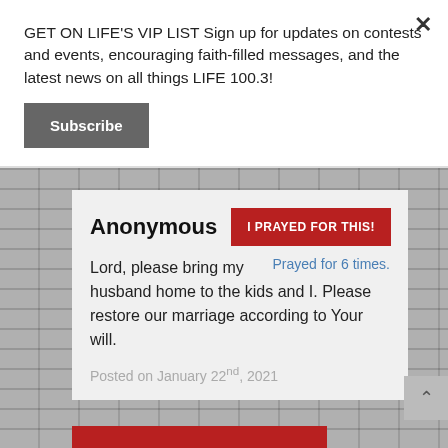GET ON LIFE'S VIP LIST Sign up for updates on contests and events, encouraging faith-filled messages, and the latest news on all things LIFE 100.3!
Subscribe
Anonymous
I PRAYED FOR THIS!
Lord, please bring my husband home to the kids and I. Please restore our marriage according to Your will.
Prayed for 6 times.
Posted on January 22nd, 2021